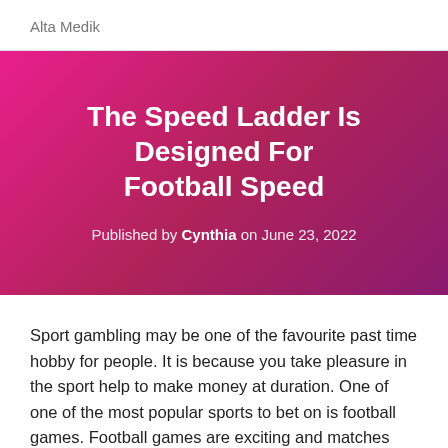Alta Medik
The Speed Ladder Is Designed For Football Speed
Published by Cynthia on June 23, 2022
Sport gambling may be one of the favourite past time hobby for people. It is because you take pleasure in the sport help to make money at duration. One of one of the most popular sports to bet on is football games. Football games are exciting and matches would be sold out. Tons